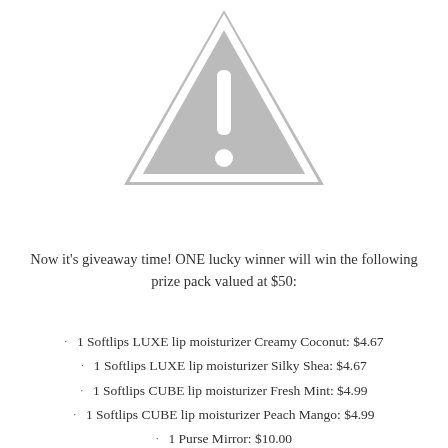[Figure (illustration): Gray warning triangle icon with exclamation mark]
Now it's giveaway time! ONE lucky winner will win the following prize pack valued at $50:
1 Softlips LUXE lip moisturizer Creamy Coconut: $4.67
1 Softlips LUXE lip moisturizer Silky Shea: $4.67
1 Softlips CUBE lip moisturizer Fresh Mint: $4.99
1 Softlips CUBE lip moisturizer Peach Mango: $4.99
1 Purse Mirror: $10.00